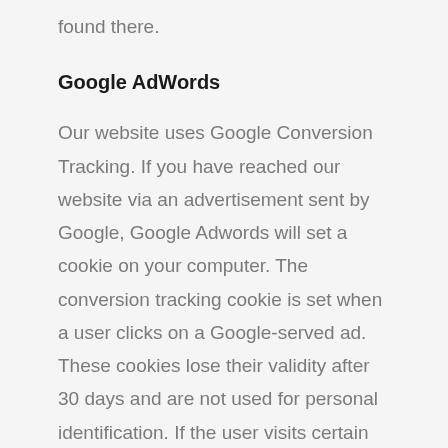found there.
Google AdWords
Our website uses Google Conversion Tracking. If you have reached our website via an advertisement sent by Google, Google Adwords will set a cookie on your computer. The conversion tracking cookie is set when a user clicks on a Google-served ad. These cookies lose their validity after 30 days and are not used for personal identification. If the user visits certain pages on our website and the cookie has not expired, we and Google may recognize that the user clicked on the ad and was redirected to this page. Each Google AdWords customer receives a different tracking Cookie...